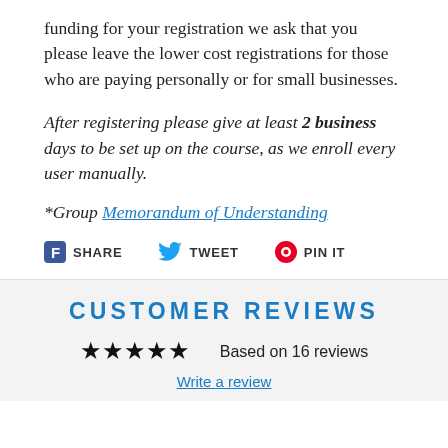funding for your registration we ask that you please leave the lower cost registrations for those who are paying personally or for small businesses.
After registering please give at least 2 business days to be set up on the course, as we enroll every user manually.
*Group Memorandum of Understanding
SHARE  TWEET  PIN IT
CUSTOMER REVIEWS
Based on 16 reviews
Write a review